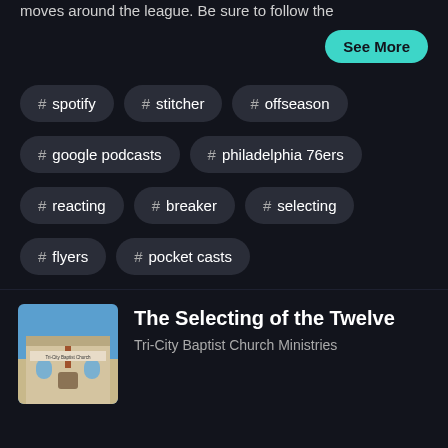moves around the league. Be sure to follow the
See More
# spotify
# stitcher
# offseason
# google podcasts
# philadelphia 76ers
# reacting
# breaker
# selecting
# flyers
# pocket casts
# radiopublic
# gauthier
# cutter
# overall pick
[Figure (photo): Tri-City Baptist Church building exterior]
The Selecting of the Twelve
Tri-City Baptist Church Ministries